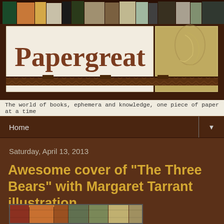[Figure (screenshot): Papergreat blog header with logo on vintage parchment background and decorative right panel]
The world of books, ephemera and knowledge, one piece of paper at a time
Home ▼
Saturday, April 13, 2013
Awesome cover of "The Three Bears" with Margaret Tarrant illustration
[Figure (photo): Bottom portion of a book cover with colorful spines visible]